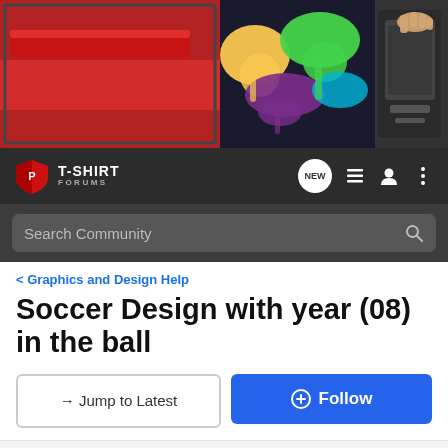[Figure (photo): Banner image showing screen printing with colorful inks — red, yellow, green, purple — being spread with squeegees on printing screens, and a printing machine on the right.]
T-SHIRT FORUMS
Search Community
< Graphics and Design Help
Soccer Design with year (08) in the ball
→ Jump to Latest
+ Follow
1 - 9 of 9 Posts